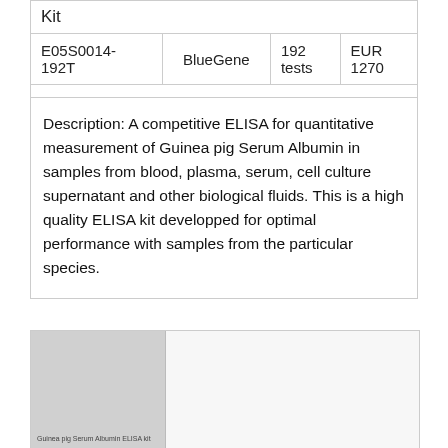| Kit | Supplier | Quantity | Price |
| --- | --- | --- | --- |
| E05S0014-192T | BlueGene | 192 tests | EUR 1270 |
Description: A competitive ELISA for quantitative measurement of Guinea pig Serum Albumin in samples from blood, plasma, serum, cell culture supernatant and other biological fluids. This is a high quality ELISA kit developped for optimal performance with samples from the particular species.
[Figure (photo): Thumbnail image of Guinea pig Serum Albumin ELISA kit packaging with label text]